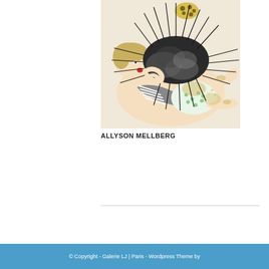[Figure (illustration): Illustration of a child lying on their back holding a large black spiky sea-urchin-like creature on their torso. The child wears a striped and polka-dot outfit. The creature has sharp spines radiating outward and a spotted yellow pattern on top. Drawn in a delicate, whimsical style with muted colors on a beige background.]
ALLYSON MELLBERG
© Copyright - Galerie LJ | Paris - Wordpress Theme by